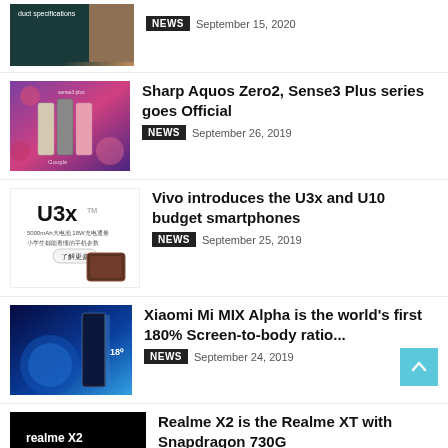[Figure (photo): Partial product image showing phones/device in dark teal and rose gold, with text 'product specifications']
NEWS   September 15, 2020
[Figure (photo): Sharp Aquos smartphones lineup on colorful floral background showing Sense3 Plus phones in multiple colors]
Sharp Aquos Zero2, Sense3 Plus series goes Official
NEWS   September 26, 2019
[Figure (photo): Vivo U3x promotional image on white background showing U3x branding and phone specifications in Chinese]
Vivo introduces the U3x and U10 budget smartphones
NEWS   September 25, 2019
[Figure (photo): Xiaomi Mi MIX Alpha promotional image on dark blue background showing the wrap-around screen phone]
Xiaomi Mi MIX Alpha is the world's first 180% Screen-to-body ratio...
NEWS   September 24, 2019
[Figure (photo): Realme X2 promotional image on black background with '6400 万像眼四摄' text in cyan]
Realme X2 is the Realme XT with Snapdragon 730G